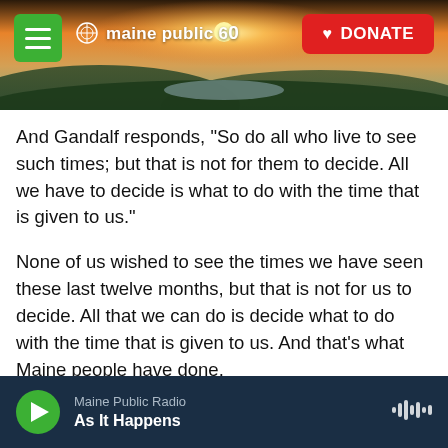[Figure (screenshot): Maine Public 60th anniversary website header with sunset/landscape photo background, green hamburger menu button on left, Maine Public 60 logo in center, red DONATE button on right]
And Gandalf responds, “So do all who live to see such times; but that is not for them to decide. All we have to decide is what to do with the time that is given to us.”
None of us wished to see the times we have seen these last twelve months, but that is not for us to decide. All that we can do is decide what to do with the time that is given to us. And that’s what Maine people have done.
We, like the rest of the nation, were dealt a bad hand last year. But we are pushing through. We will
Maine Public Radio
As It Happens